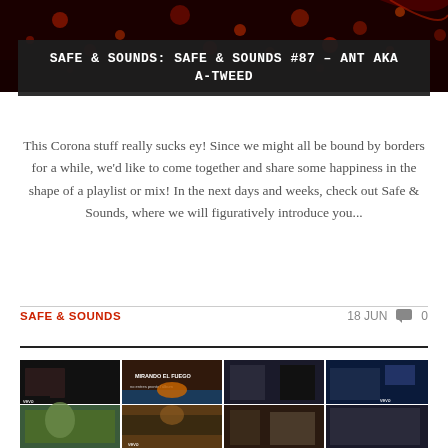[Figure (photo): Dark background with glowing red/orange bokeh lights]
SAFE & SOUNDS: SAFE & SOUNDS #87 – ANT AKA A-TWEED
This Corona stuff really sucks ey! Since we might all be bound by borders for a while, we'd like to come together and share some happiness in the shape of a playlist or mix! In the next days and weeks, check out Safe & Sounds, where we will figuratively introduce you...
SAFE & SOUNDS
18 JUN  💬 0
[Figure (screenshot): Grid of music video thumbnails including MIRANDO EL FUEGO text, various music video stills with VEVO watermarks, showing multiple rows of video thumbnails]